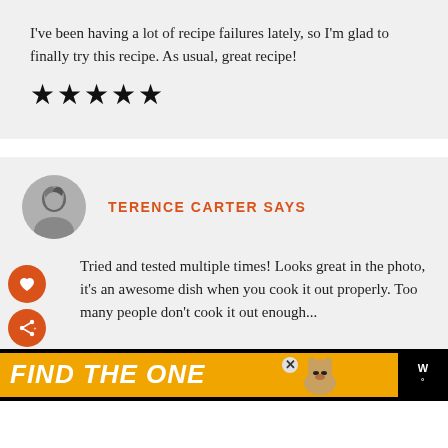I've been having a lot of recipe failures lately, so I'm glad to finally try this recipe. As usual, great recipe!
[Figure (other): Five filled black stars (5-star rating)]
TERENCE CARTER SAYS
Tried and tested multiple times! Looks great in the photo, it's an awesome dish when you cook it out properly. Too many people don't cook it out enough...
[Figure (other): Advertisement banner: 'FIND THE ONE' with dog image on orange/black background]